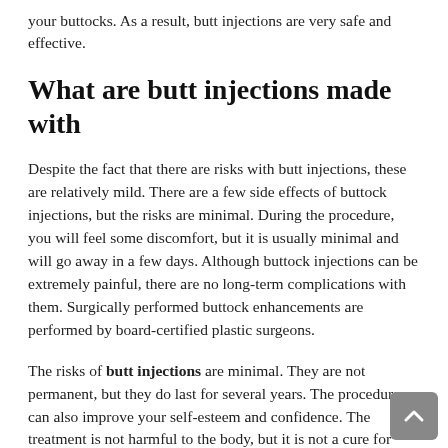your buttocks. As a result, butt injections are very safe and effective.
What are butt injections made with
Despite the fact that there are risks with butt injections, these are relatively mild. There are a few side effects of buttock injections, but the risks are minimal. During the procedure, you will feel some discomfort, but it is usually minimal and will go away in a few days. Although buttock injections can be extremely painful, there are no long-term complications with them. Surgically performed buttock enhancements are performed by board-certified plastic surgeons.
The risks of butt injections are minimal. They are not permanent, but they do last for several years. The procedure can also improve your self-esteem and confidence. The treatment is not harmful to the body, but it is not a cure for cellulite. It is possible to get butt injections to help you look better. Aside from enhancing